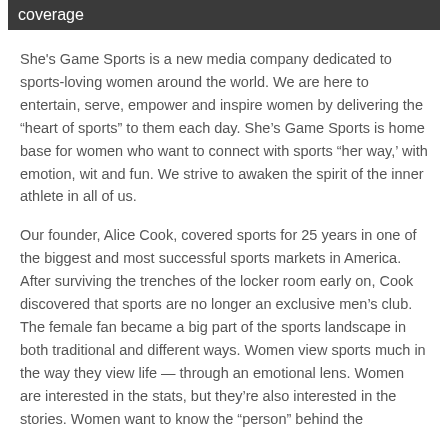coverage
She's Game Sports is a new media company dedicated to sports-loving women around the world. We are here to entertain, serve, empower and inspire women by delivering the “heart of sports” to them each day. She’s Game Sports is home base for women who want to connect with sports “her way,’ with emotion, wit and fun. We strive to awaken the spirit of the inner athlete in all of us.
Our founder, Alice Cook, covered sports for 25 years in one of the biggest and most successful sports markets in America. After surviving the trenches of the locker room early on, Cook discovered that sports are no longer an exclusive men’s club. The female fan became a big part of the sports landscape in both traditional and different ways. Women view sports much in the way they view life — through an emotional lens. Women are interested in the stats, but they’re also interested in the stories. Women want to know the “person” behind the